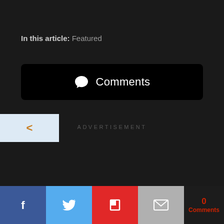In this article: Featured
Comments
<
ADVERTISEMENT
f  [twitter]  [flipboard]  [mail]  0 Comments